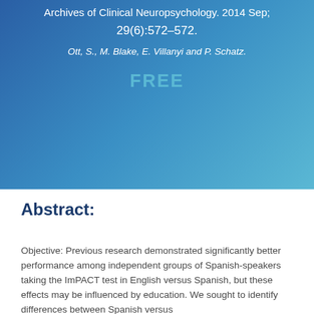Archives of Clinical Neuropsychology. 2014 Sep; 29(6):572–572.
Ott, S., M. Blake, E. Villanyi and P. Schatz.
FREE
Abstract:
Objective: Previous research demonstrated significantly better performance among independent groups of Spanish-speakers taking the ImPACT test in English versus Spanish, but these effects may be influenced by education. We sought to identify differences between Spanish versus